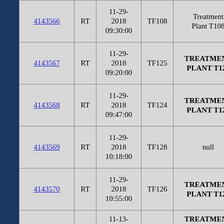| ID | Type | Date/Time | TF | Location |
| --- | --- | --- | --- | --- |
| 4143566 | RT | 11-29-2018 09:30:00 | TF108 | Treatment Plant T108 |
| 4143567 | RT | 11-29-2018 09:20:00 | TF125 | TREATMENT PLANT T125 |
| 4143568 | RT | 11-29-2018 09:47:00 | TF124 | TREATMENT PLANT T124 |
| 4143569 | RT | 11-29-2018 10:18:00 | TF128 | null |
| 4143570 | RT | 11-29-2018 10:55:00 | TF126 | TREATMENT PLANT T126 |
|  |  | 11-13- |  | TREATMENT |